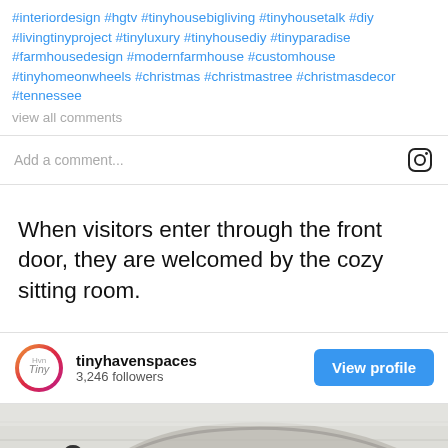#interiordesign #hgtv #tinyhousebigliving #tinyhousetalk #diy #livingtinyproject #tinyluxury #tinyhousediy #tinyparadise #farmhousedesign #modernfarmhouse #customhouse #tinyhomeonwheels #christmas #christmastree #christmasdecor #tennessee
view all comments
Add a comment...
When visitors enter through the front door, they are welcomed by the cozy sitting room.
tinyhavenspaces
3,246 followers
[Figure (photo): Interior of a tiny house showing white shiplap walls and ceiling with a curved beam/loft structure and black industrial pipes, warm recessed lighting visible at bottom right]